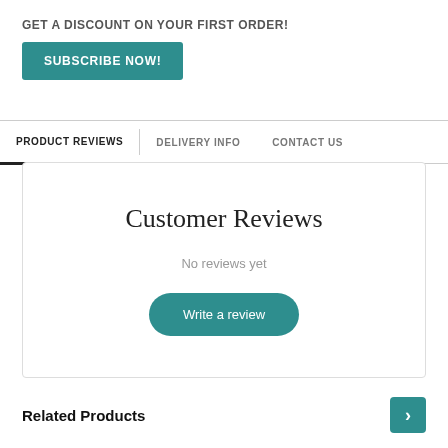×
GET A DISCOUNT ON YOUR FIRST ORDER!
SUBSCRIBE NOW!
PRODUCT REVIEWS   DELIVERY INFO   CONTACT US
Customer Reviews
No reviews yet
Write a review
Related Products